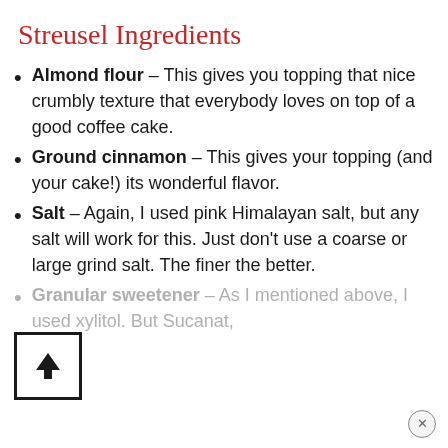Streusel Ingredients
Almond flour – This gives you topping that nice crumbly texture that everybody loves on top of a good coffee cake.
Ground cinnamon – This gives your topping (and your cake!) its wonderful flavor.
Salt – Again, I used pink Himalayan salt, but any salt will work for this. Just don't use a coarse or large grind salt. The finer the better.
Granular sweetener – As I mentioned above, I used xylitol. But Sucanat,